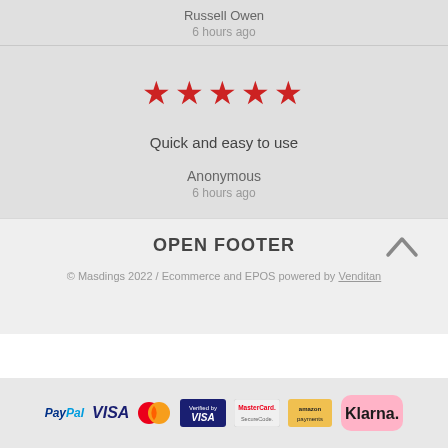Russell Owen
6 hours ago
[Figure (other): 5 red stars rating]
Quick and easy to use
Anonymous
6 hours ago
OPEN FOOTER
© Masdings 2022 / Ecommerce and EPOS powered by Venditan
[Figure (logo): Payment logos: PayPal, VISA, Mastercard, Verified by VISA, MasterCard SecureCode, Amazon Payments, Klarna]